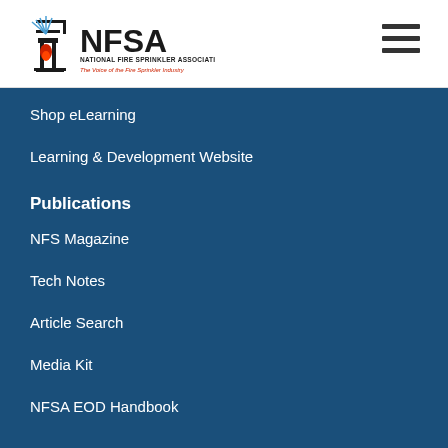[Figure (logo): NFSA National Fire Sprinkler Association logo with tagline 'The Voice of the Fire Sprinkler Industry']
Shop eLearning
Learning & Development Website
Publications
NFS Magazine
Tech Notes
Article Search
Media Kit
NFSA EOD Handbook
Governance
Board of Directors
Councils & Committees
Antitrust
By-Laws